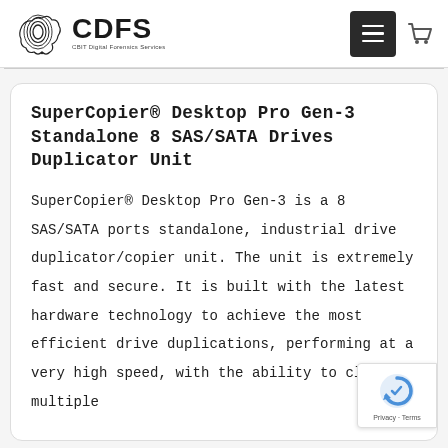CDFS - CBIT Digital Forensics Services
SuperCopier® Desktop Pro Gen-3 Standalone 8 SAS/SATA Drives Duplicator Unit
SuperCopier® Desktop Pro Gen-3 is a 8 SAS/SATA ports standalone, industrial drive duplicator/copier unit. The unit is extremely fast and secure. It is built with the latest hardware technology to achieve the most efficient drive duplications, performing at a very high speed, with the ability to clone multiple